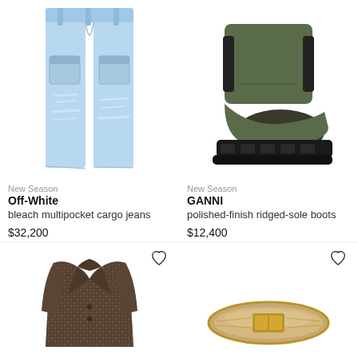[Figure (photo): Bleach-washed distressed wide-leg cargo jeans from Off-White, light blue denim]
[Figure (photo): GANNI polished-finish ridged-sole Chelsea boots in olive/dark green leather with chunky black lug sole]
New Season
Off-White
bleach multipocket cargo jeans
$32,200
New Season
GANNI
polished-finish ridged-sole boots
$12,400
[Figure (photo): Brown houndstooth/plaid oversized coat or blazer, dark brown tones]
[Figure (photo): Wide belt or bangle in gold/beige tones, possibly a cuff or belt accessory]